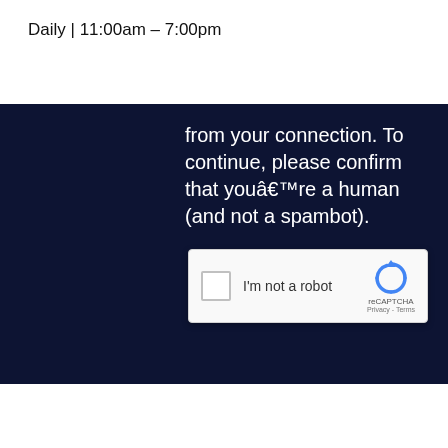Daily | 11:00am – 7:00pm
[Figure (screenshot): A dark navy blue panel showing a CAPTCHA verification screen. Text reads: 'from your connection. To continue, please confirm that you're a human (and not a spambot).' Below is a reCAPTCHA widget with a checkbox labeled 'I'm not a robot' and the reCAPTCHA logo with 'Privacy - Terms' text.]